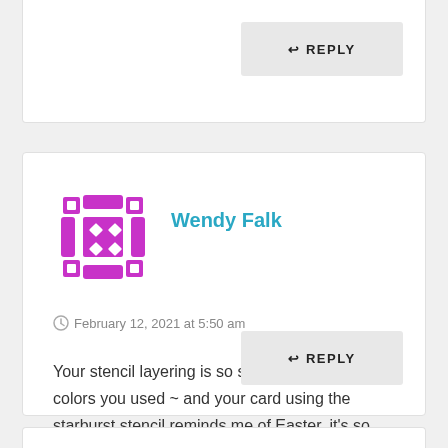↩ REPLY
[Figure (illustration): Magenta/purple decorative grid avatar icon with diamond cutouts and corner squares]
Wendy Falk
February 12, 2021 at 5:50 am
Your stencil layering is so so pretty. I love the colors you used ~ and your card using the starburst stencil reminds me of Easter, it's so fresh and beautiful <3
↩ REPLY